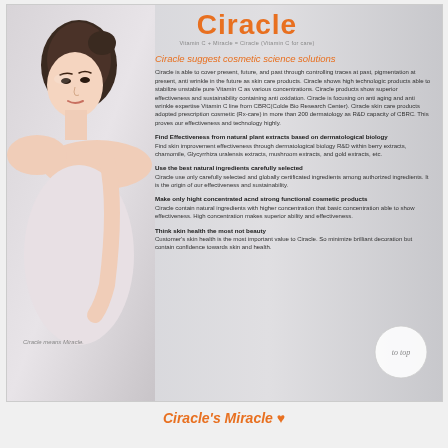[Figure (photo): Young Asian woman with clear skin, bare shoulder, posed against light background]
Ciracle
Vitamin C + Miracle = Ciracle (Vitamin C for care)
Ciracle suggest cosmetic science solutions
Ciracle is able to cover present, future, and past through controlling traces at past, pigmentation at present, anti wrinkle in the future as skin care products. Ciracle shows high technologic products able to stabilize unstable pure Vitamin C as various concentrations. Ciracle products show superior effectiveness and sustainability containing anti oxidation. Ciracle is focusing on anti aging and anti wrinkle expertise Vitamin C line from CBRC(Colde Bio Research Center). Ciracle skin care products adopted prescription cosmetic (Rx-care) in more than 200 dermatology as R&D capacity of CBRC. This proves our effectiveness and technology highly.
Find Effectiveness from natural plant extracts based on dermatological biology
Find skin improvement effectiveness through dermatological biology R&D within berry extracts, chamomile, Glycyrrhiza uralensis extracts, mushroom extracts, and gold extracts, etc.
Use the best natural ingredients carefully selected
Ciracle use only carefully selected and globally certificated ingredients among authorized ingredients. It is the origin of our effectiveness and sustainability.
Make only hight concentrated acnd strong functional cosmetic products
Ciracle contain natural ingredients with higher concentration that basic concentration able to show effectiveness. High concentration makes superior ability and effectiveness.
Think skin health the most not beauty
Customer's skin health is the most important value to Ciracle. So minimize brilliant decoration but contain confidence towards skin and health.
Ciracle means Miracle.
Ciracle's Miracle ♥